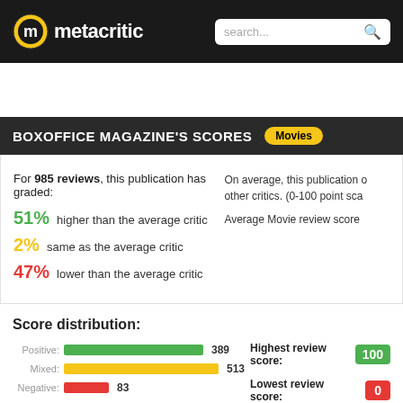[Figure (logo): Metacritic logo with yellow circle and M icon, white text 'metacritic' on dark header]
BOXOFFICE MAGAZINE'S SCORES  Movies
For 985 reviews, this publication has graded:
51% higher than the average critic
2% same as the average critic
47% lower than the average critic
On average, this publication other critics. (0-100 point sca
Average Movie review score
Score distribution:
Positive: 389
Mixed: 513
Negative: 83
Highest review score: 100
Lowest review score: 0
985 movie reviews